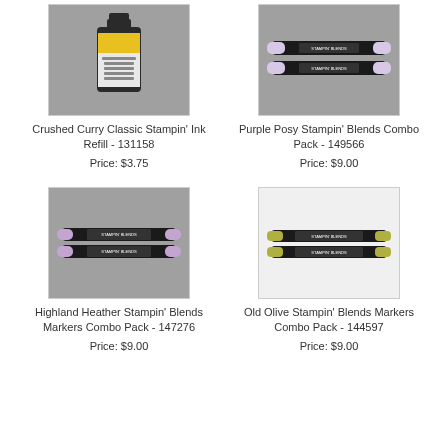[Figure (photo): Crushed Curry Classic Stampin' Ink Refill bottle with yellow label on grey background]
Crushed Curry Classic Stampin' Ink Refill - 131158
Price: $3.75
[Figure (photo): Purple Posy Stampin' Blends Combo Pack - two markers with white/light purple tips on grey background]
Purple Posy Stampin' Blends Combo Pack - 149566
Price: $9.00
[Figure (photo): Highland Heather Stampin' Blends Markers Combo Pack - two lavender markers on grey background]
Highland Heather Stampin' Blends Markers Combo Pack - 147276
Price: $9.00
[Figure (photo): Old Olive Stampin' Blends Markers Combo Pack - two olive/yellow-green markers on white background]
Old Olive Stampin' Blends Markers Combo Pack - 144597
Price: $9.00